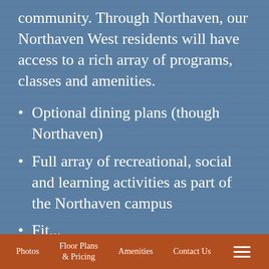community. Through Northaven, our Northaven West residents will have access to a rich array of programs, classes and amenities.
Optional dining plans (though Northaven)
Full array of recreational, social and learning activities as part of the Northaven campus
Fit...
Photos | Floor Plans & Pricing | Amenities | Contact Us